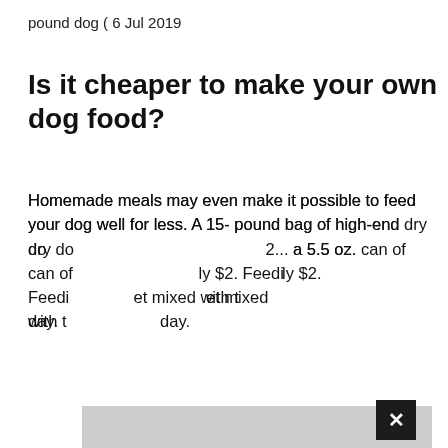pound dog ( 6 Jul 2019
Is it cheaper to make your own dog food?
Homemade meals may even make it possible to feed your dog well for less. A 15- pound bag of high-end dry do[g food costs approximately $6]2... a 5.5 oz. can of [wet food costs approximate]ly $2. Feedi[ng a large or giant breed dog a di]et mixed with t[wo cans of wet food per] day.
[Figure (screenshot): Gray overlay advertisement box partially covering the text, with a black close button (X) in the top-right corner of the overlay, and an orange X button at the bottom-right edge of the page.]